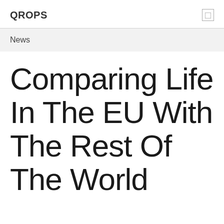QROPS
News
Comparing Life In The EU With The Rest Of The World